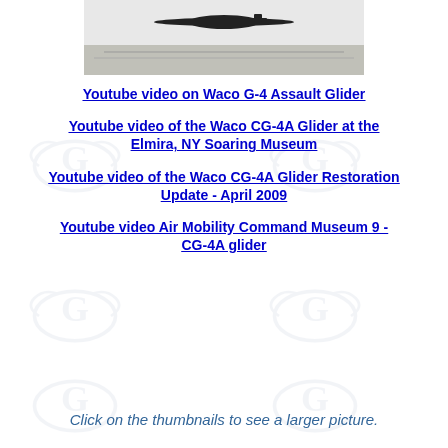[Figure (photo): Black and white photograph of a Waco glider aircraft with a landscape below, partially visible at top of page]
Youtube video on Waco G-4 Assault Glider
Youtube video of the Waco CG-4A Glider at the Elmira, NY Soaring Museum
Youtube video of the Waco CG-4A Glider Restoration Update - April 2009
Youtube video Air Mobility Command Museum 9 - CG-4A glider
Click on the thumbnails to see a larger picture.